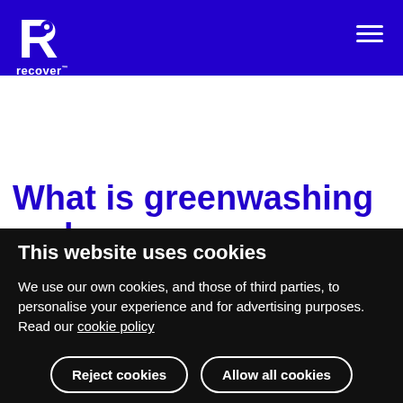recover
What is greenwashing and
This website uses cookies
We use our own cookies, and those of third parties, to personalise your experience and for advertising purposes. Read our cookie policy
Reject cookies | Allow all cookies